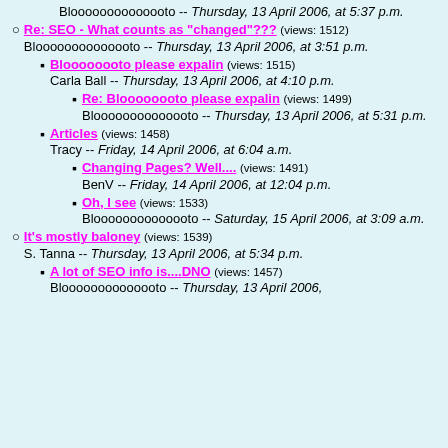Bloooooooooooooto -- Thursday, 13 April 2006, at 5:37 p.m.
Re: SEO - What counts as "changed"??? (views: 1512) Bloooooooooooooto -- Thursday, 13 April 2006, at 3:51 p.m.
Bloooooooto please expalin (views: 1515) Carla Ball -- Thursday, 13 April 2006, at 4:10 p.m.
Re: Bloooooooto please expalin (views: 1499) Bloooooooooooooto -- Thursday, 13 April 2006, at 5:31 p.m.
Articles (views: 1458) Tracy -- Friday, 14 April 2006, at 6:04 a.m.
Changing Pages? Well.... (views: 1491) BenV -- Friday, 14 April 2006, at 12:04 p.m.
Oh, I see (views: 1533) Bloooooooooooooto -- Saturday, 15 April 2006, at 3:09 a.m.
It's mostly baloney (views: 1539) S. Tanna -- Thursday, 13 April 2006, at 5:34 p.m.
A lot of SEO info is....DNO (views: 1457) Bloooooooooooooto -- Thursday, 13 April 2006,